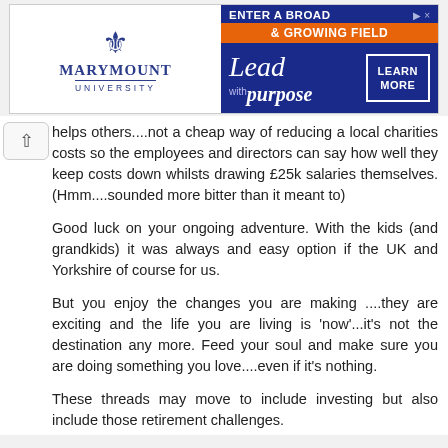[Figure (other): Marymount University advertisement banner. Left side shows fleur-de-lis logo and 'MARYMOUNT UNIVERSITY' text in navy blue. Right side has navy blue background with orange bar reading '& GROWING FIELD', text 'Lead with purpose' in italic, and 'LEARN MORE' button. Top text reads 'ENTER A BROAD'.]
helps others....not a cheap way of reducing a local charities costs so the employees and directors can say how well they keep costs down whilsts drawing £25k salaries themselves. (Hmm....sounded more bitter than it meant to)
Good luck on your ongoing adventure. With the kids (and grandkids) it was always and easy option if the UK and Yorkshire of course for us.
But you enjoy the changes you are making ....they are exciting and the life you are living is 'now'...it's not the destination any more. Feed your soul and make sure you are doing something you love....even if it's nothing.
These threads may move to include investing but also include those retirement challenges.